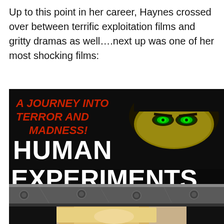Up to this point in her career, Haynes crossed over between terrific exploitation films and gritty dramas as well....next up was one of her most shocking films:
[Figure (photo): Movie poster for 'Human Experiments' showing a dark background with glowing green eyes peeking from beneath a black hood, red italic text reading 'A JOURNEY INTO TERROR AND MADNESS!', large bold white text 'HUMAN EXPERIMENTS', a metal bar/door with bolts, and a partial image of a blonde woman at the bottom.]